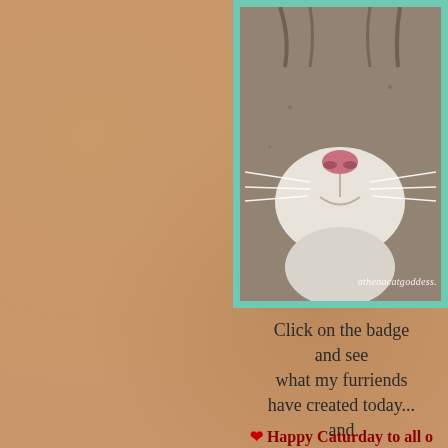[Figure (photo): Close-up photo of a tabby cat's nose and muzzle with white whiskers, shown inside a teal/mint green border frame. Watermark text 'athenacatgoddess.' visible at bottom right of photo.]
Click on the badge

and see

what my furriends

have created today...

and

ENJOY!!

as always 😉

❤ Happy Caturday to all o